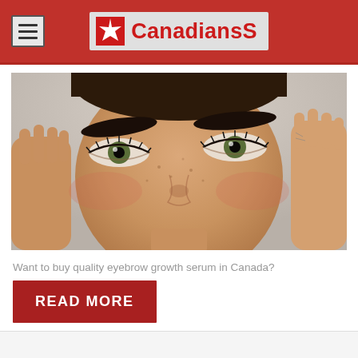CanadiansSS
[Figure (photo): Close-up portrait of a young woman with bold eyebrows, green eyes, and rosy cheeks, framing her face with both hands against a light background.]
Want to buy quality eyebrow growth serum in Canada?
READ MORE